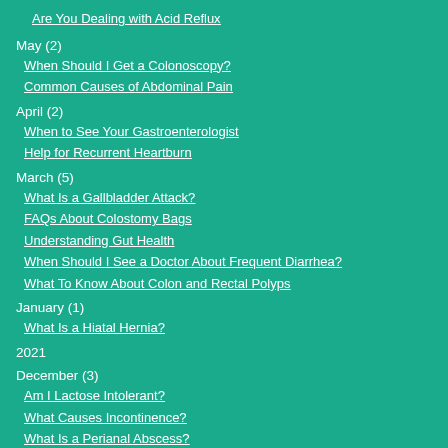Are You Dealing with Acid Reflux
May (2)
When Should I Get a Colonoscopy?
Common Causes of Abdominal Pain
April (2)
When to See Your Gastroenterologist
Help for Recurrent Heartburn
March (5)
What Is a Gallbladder Attack?
FAQs About Colostomy Bags
Understanding Gut Health
When Should I See a Doctor About Frequent Diarrhea?
What To Know About Colon and Rectal Polyps
January (1)
What Is a Hiatal Hernia?
2021
December (3)
Am I Lactose Intolerant?
What Causes Incontinence?
What Is a Perianal Abscess?